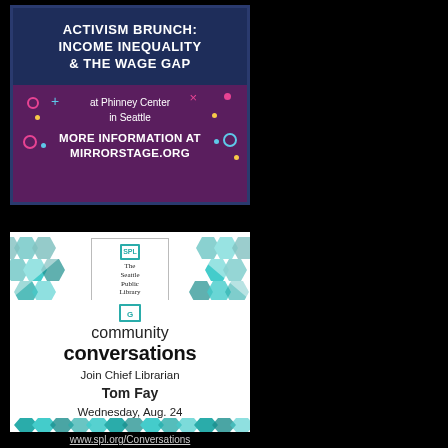[Figure (infographic): Advertisement for Activism Brunch: Income Inequality & The Wage Gap event at Phinney Center in Seattle. Dark navy and purple background with decorative colored dots. Text: MORE INFORMATION AT MIRRORSTAGE.ORG]
[Figure (infographic): Advertisement for Seattle Public Library Community Conversations event. Teal hexagon pattern background. Join Chief Librarian Tom Fay, Wednesday, Aug. 24 from noon to 1 p.m., Rainier Beach Branch, 9125 Rainier Ave. S.]
www.spl.org/Conversations